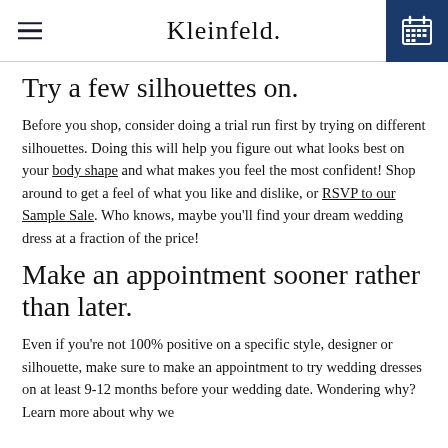Kleinfeld.
Try a few silhouettes on.
Before you shop, consider doing a trial run first by trying on different silhouettes. Doing this will help you figure out what looks best on your body shape and what makes you feel the most confident! Shop around to get a feel of what you like and dislike, or RSVP to our Sample Sale. Who knows, maybe you’ll find your dream wedding dress at a fraction of the price!
Make an appointment sooner rather than later.
Even if you’re not 100% positive on a specific style, designer or silhouette, make sure to make an appointment to try wedding dresses on at least 9-12 months before your wedding date. Wondering why? Learn more about why we